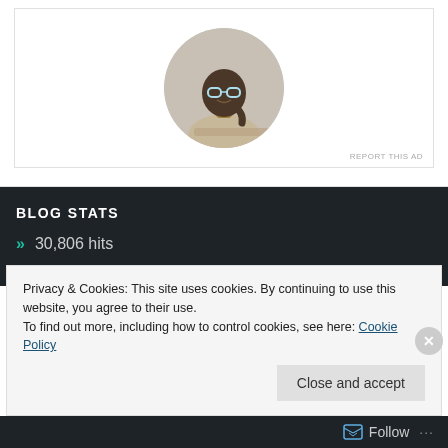[Figure (photo): Circular profile photo of a man wearing glasses and a beige t-shirt, sitting at a desk looking up thoughtfully with hand near chin]
REPORT THIS AD
BLOG STATS
» 30,806 hits
Privacy & Cookies: This site uses cookies. By continuing to use this website, you agree to their use.
To find out more, including how to control cookies, see here: Cookie Policy
Close and accept
Follow